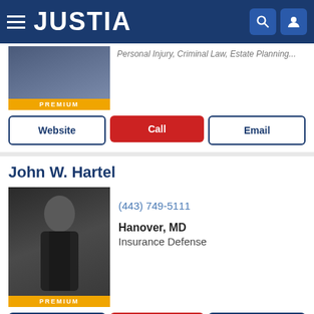JUSTIA
Personal Injury, Criminal Law, Estate Planning...
Website | Call | Email
John W. Hartel
(443) 749-5111
Hanover, MD
Insurance Defense
Website | Call | Email
Matthew Crowley
(703) 337-3773
Fairfax, VA